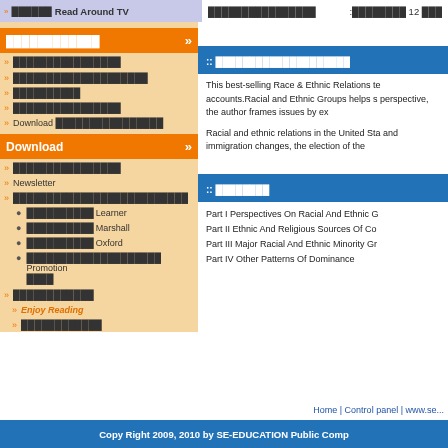>> ██████ Read Around TV   ████████████████   :████████ 12 ███
████████████
>> ████████████████
>> ████████████████████
>> ██████████
>> ████████████████
>> Download ████████████████
Download
>> ████████████████
>> Newsletter
>> ██████████████████████████
• ██████████ Learner
• ██████████ Marshall
• ██████████ Oxford
• ████████████████████ Promotion ████
>> ████████████
>> Enjoy Reading
>> ████████████
:: ████████████████████
This best-selling Race & Ethnic Relations te accounts.Racial and Ethnic Groups helps s perspective, the author frames issues by ex
Racial and ethnic relations in the United Sta and immigration changes, the election of the
:: ████████
Part I Perspectives On Racial And Ethnic G
Part II Ethnic And Religious Sources Of Co
Part III Major Racial And Ethnic Minority Gr
Part IV Other Patterns Of Dominance
Home | Control panel | www.se...
Copy Right 2009, 2010 by SE-EDUCATION Public Comp